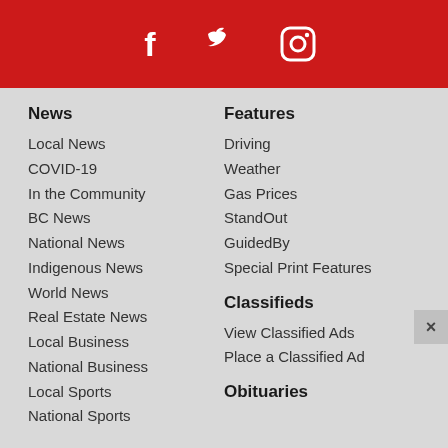[Figure (infographic): Red banner with Facebook, Twitter, and Instagram social media icons in white]
News
Local News
COVID-19
In the Community
BC News
National News
Indigenous News
World News
Real Estate News
Local Business
National Business
Local Sports
National Sports
Features
Driving
Weather
Gas Prices
StandOut
GuidedBy
Special Print Features
Classifieds
View Classified Ads
Place a Classified Ad
Obituaries